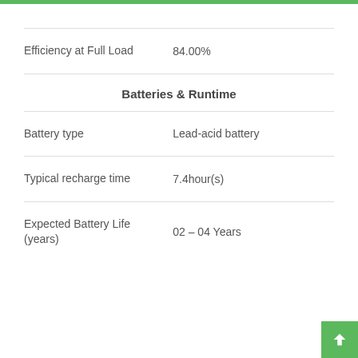| Property | Value |
| --- | --- |
| Efficiency at Full Load | 84.00% |
| Battery type | Lead-acid battery |
| Typical recharge time | 7.4hour(s) |
| Expected Battery Life (years) | 02 – 04 Years |
Batteries & Runtime